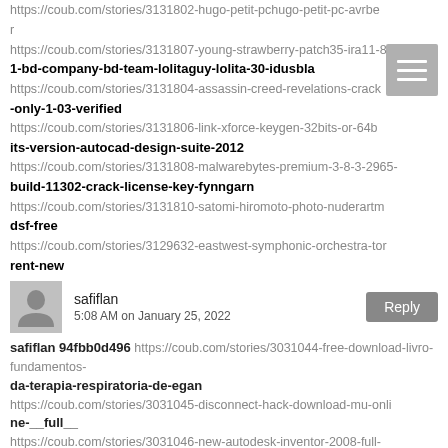https://coub.com/stories/3131802-hugo-petit-pchugo-petit-pc-avrber
https://coub.com/stories/3131807-young-strawberry-patch35-ira11-8
1-bd-company-bd-team-lolitaguy-lolita-30-idusbla
https://coub.com/stories/3131804-assassin-creed-revelations-crack
-only-1-03-verified
https://coub.com/stories/3131806-link-xforce-keygen-32bits-or-64b
its-version-autocad-design-suite-2012
https://coub.com/stories/3131808-malwarebytes-premium-3-8-3-2965-
build-11302-crack-license-key-fynngarn
https://coub.com/stories/3131810-satomi-hiromoto-photo-nuderartm
dsf-free
https://coub.com/stories/3129632-eastwest-symphonic-orchestra-tor
rent-new
[Figure (other): Hamburger menu icon (three horizontal lines on gray background)]
safiflan
5:08 AM on January 25, 2022
safiflan 94fbb0d496 https://coub.com/stories/3031044-free-download-livro-fundamentos-
da-terapia-respiratoria-de-egan
https://coub.com/stories/3031045-disconnect-hack-download-mu-onli
ne-__full__
https://coub.com/stories/3031046-new-autodesk-inventor-2008-full-
version-with-crack
https://coub.com/stories/3031047-kalziumsoftwarefreedownloadforwi
ndows-hot
https://coub.com/stories/3031048-bodhidharma-full-verified-movie-